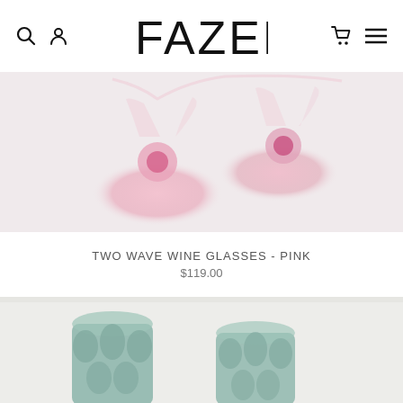FAZEEK
[Figure (photo): Two pink wave wine glasses photographed from above, showing their round pink glass bases on a light pinkish-grey background]
TWO WAVE WINE GLASSES - PINK
$119.00
[Figure (photo): Teal/green scalloped glassware items partially visible at bottom of page on a light grey background]